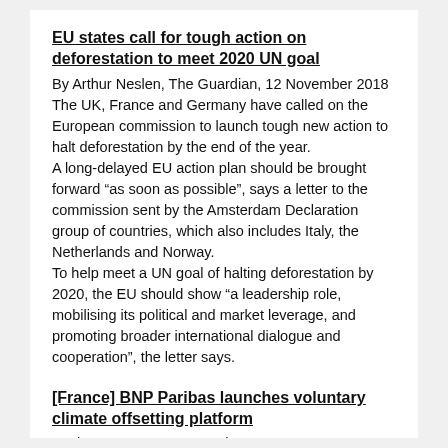EU states call for tough action on deforestation to meet 2020 UN goal
By Arthur Neslen, The Guardian, 12 November 2018
The UK, France and Germany have called on the European commission to launch tough new action to halt deforestation by the end of the year.
A long-delayed EU action plan should be brought forward “as soon as possible”, says a letter to the commission sent by the Amsterdam Declaration group of countries, which also includes Italy, the Netherlands and Norway.
To help meet a UN goal of halting deforestation by 2020, the EU should show “a leadership role, mobilising its political and market leverage, and promoting broader international dialogue and cooperation”, the letter says.
[France] BNP Paribas launches voluntary climate offsetting platform
BusinessGreen, 12 November 2018
French banking giant BNP Paribas has launched a new voluntary carbon offsetting platform to help connect investors with on-the-ground projects to cut carbon emissions.